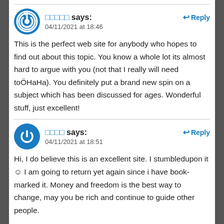□□□□□ says: 04/11/2021 at 18:46
This is the perfect web site for anybody who hopes to find out about this topic. You know a whole lot its almost hard to argue with you (not that I really will need toÖHaHa). You definitely put a brand new spin on a subject which has been discussed for ages. Wonderful stuff, just excellent!
□□□□ says: 04/11/2021 at 18:51
Hi, I do believe this is an excellent site. I stumbledupon it ☺ I am going to return yet again since i have book-marked it. Money and freedom is the best way to change, may you be rich and continue to guide other people.